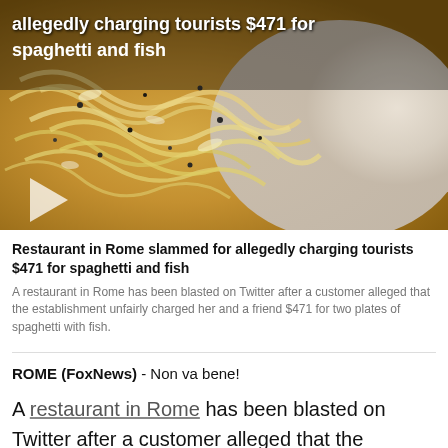[Figure (photo): Video thumbnail showing a plate of spaghetti with black pepper, with a play button overlay and text overlay reading 'allegedly charging tourists $471 for spaghetti and fish']
Restaurant in Rome slammed for allegedly charging tourists $471 for spaghetti and fish
A restaurant in Rome has been blasted on Twitter after a customer alleged that the establishment unfairly charged her and a friend $471 for two plates of spaghetti with fish.
ROME (FoxNews) - Non va bene!
A restaurant in Rome has been blasted on Twitter after a customer alleged that the establishment unfairly charged her and a friend $471 for two plates